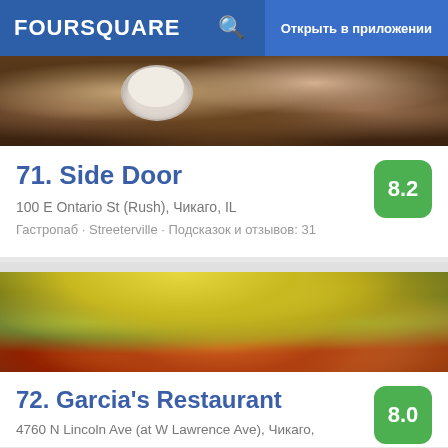FOURSQUARE  Открыть в приложении
[Figure (photo): Food photo showing meat dishes with a white dipping sauce in a metal cup, dark background]
71. Side Door
100 E Ontario St (Rush), Чикаго, IL
Гастропаб · Streeterville · Подсказок и отзывов: 31
[Figure (photo): Food photo showing a colorful Mexican dish with shredded yellow cheese, lettuce, tomatoes, black beans, and orange sauce]
72. Garcia's Restaurant
4760 N Lincoln Ave (at W Lawrence Ave), Чикаго,